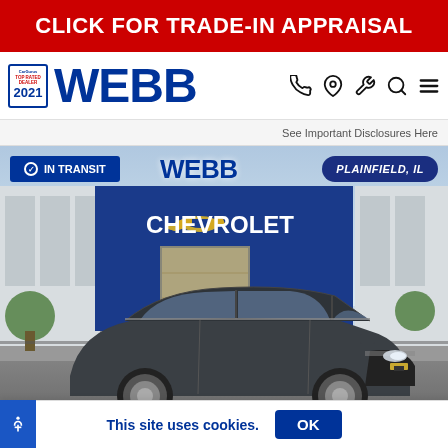CLICK FOR TRADE-IN APPRAISAL
[Figure (logo): Webb Chevrolet dealer logo with CarGurus Top Rated Dealer 2021 badge, navigation icons (phone, location, wrench, search, menu)]
See Important Disclosures Here
[Figure (photo): Chevrolet Equinox SUV (dark gray) parked in front of Webb Chevrolet dealership in Plainfield, IL. IN TRANSIT badge shown. WEBB overlay logo and PLAINFIELD, IL pill badge visible.]
This site uses cookies.
OK